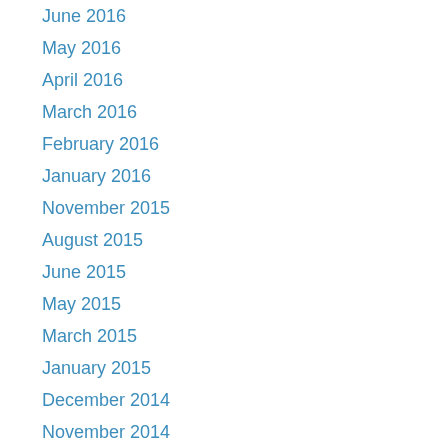June 2016
May 2016
April 2016
March 2016
February 2016
January 2016
November 2015
August 2015
June 2015
May 2015
March 2015
January 2015
December 2014
November 2014
September 2014